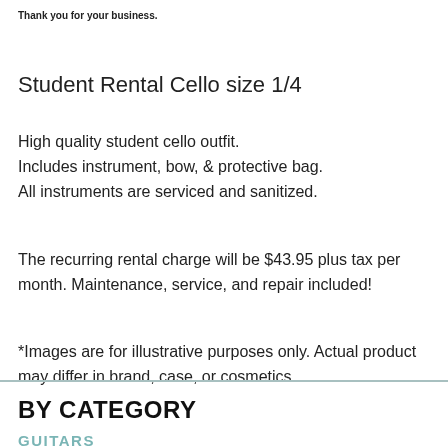Thank you for your business.
Student Rental Cello size 1/4
High quality student cello outfit.
Includes instrument, bow, & protective bag.
All instruments are serviced and sanitized.
The recurring rental charge will be $43.95 plus tax per month. Maintenance, service, and repair included!
*Images are for illustrative purposes only. Actual product may differ in brand, case, or cosmetics.
BY CATEGORY
GUITARS